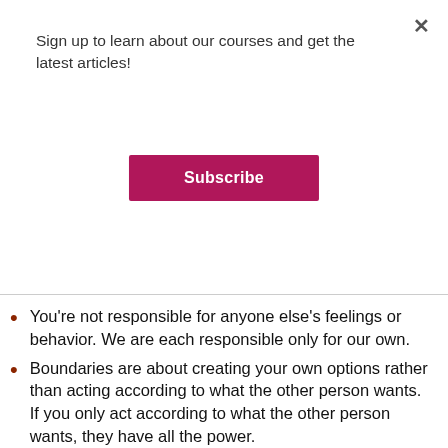Sign up to learn about our courses and get the latest articles!
Subscribe
You're not responsible for anyone else's feelings or behavior. We are each responsible only for our own.
Boundaries are about creating your own options rather than acting according to what the other person wants. If you only act according to what the other person wants, they have all the power.
If you find that you keep having to set the same boundary, you may need to address this as a larger issue by taking more space or evaluating the relationship overall. It is a form